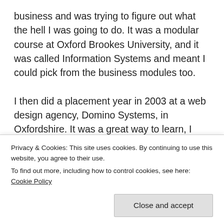business and was trying to figure out what the hell I was going to do. It was a modular course at Oxford Brookes University, and it was called Information Systems and meant I could pick from the business modules too.

I then did a placement year in 2003 at a web design agency, Domino Systems, in Oxfordshire. It was a great way to learn, I ended up learning web development, sysadmin and later on SEO. The plan was to go back and do my final year to graduate. I
Privacy & Cookies: This site uses cookies. By continuing to use this website, you agree to their use.
To find out more, including how to control cookies, see here: Cookie Policy
years old I ended up being good at everything great